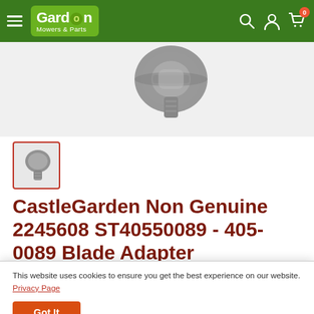Gardon Mowers & Parts
[Figure (photo): Blade adapter part, small metal cylindrical component viewed from slightly above, grey metallic finish]
[Figure (photo): Thumbnail of blade adapter part with orange/red border]
CastleGarden Non Genuine 2245608 ST40550089 - 405-0089 Blade Adapter
Price: £15.15
This website uses cookies to ensure you get the best experience on our website. Privacy Page
Got It